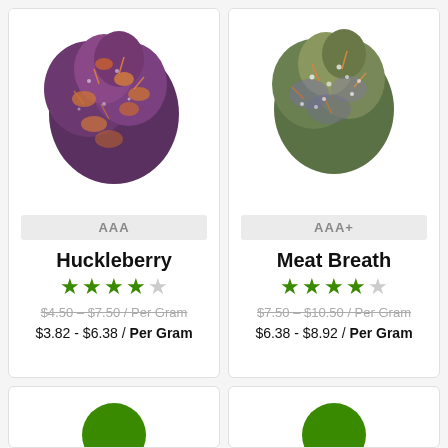[Figure (photo): Purple/brown cannabis bud on white background - Huckleberry strain]
AAA
Huckleberry
[Figure (other): 4.5 out of 5 stars rating in green]
$4.50 - $7.50 / Per Gram (strikethrough)
$3.82 - $6.38 / Per Gram
[Figure (photo): Green/grey cannabis bud on white background - Meat Breath strain]
AAA+
Meat Breath
[Figure (other): 4.5 out of 5 stars rating in green]
$7.50 - $10.50 / Per Gram (strikethrough)
$6.38 - $8.92 / Per Gram